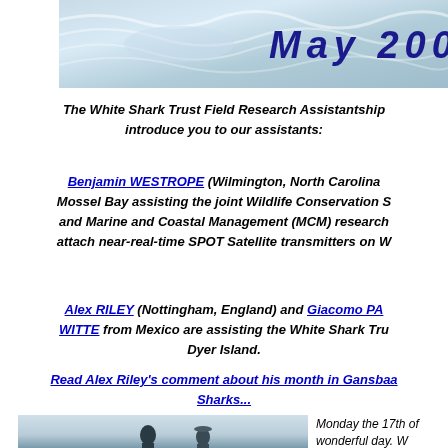[Figure (illustration): Banner image with ocean wave texture background and 'May 2004' text in dark blue italic bold font]
The White Shark Trust Field Research Assistantship introduce you to our assistants:
Benjamin WESTROPE (Wilmington, North Carolina is in Mossel Bay assisting the joint Wildlife Conservation S and Marine and Coastal Management (MCM) research to attach near-real-time SPOT Satellite transmitters on W
Alex RILEY (Nottingham, England) and Giacomo PA WITTE from Mexico are assisting the White Shark Tru Dyer Island.
Read Alex Riley's comment about his month in Gansbaa Sharks...
[Figure (photo): Two silhouetted figures standing against a hazy sky, outdoor coastal scene]